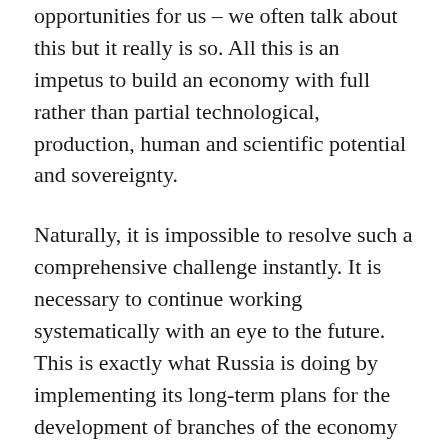opportunities for us – we often talk about this but it really is so. All this is an impetus to build an economy with full rather than partial technological, production, human and scientific potential and sovereignty.
Naturally, it is impossible to resolve such a comprehensive challenge instantly. It is necessary to continue working systematically with an eye to the future. This is exactly what Russia is doing by implementing its long-term plans for the development of branches of the economy and strengthening the social sphere. The current trials are merely resulting in adjustments and modifications of the plans without changing their strategic orientation.